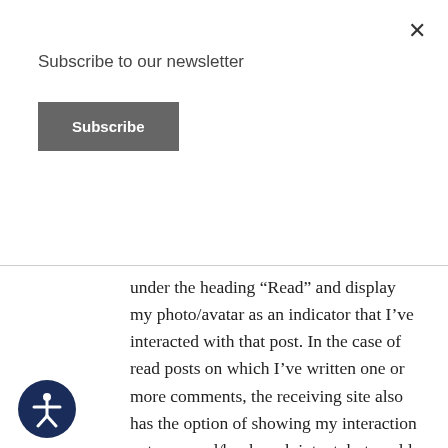Subscribe to our newsletter
Subscribe
under the heading “Read” and display my photo/avatar as an indicator that I’ve interacted with that post. In the case of read posts on which I’ve written one or more comments, the receiving site also has the option of showing my interaction not as a read/bookmark intent, but could also show my comments as a reply to their post. I’ve written a bit about this and its potential for large news outlets before in Webmentions: Enabling Better Communication on the Internet for A List Apart. There are also some older legacy sites that might show my
[Figure (illustration): Accessibility icon: white person figure with arms outstretched inside a dark navy circle]